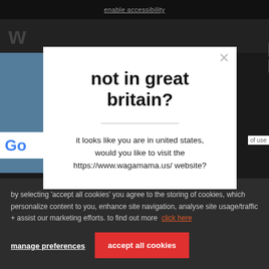enable accessibility
[Figure (screenshot): Website navigation bar showing partial 'W' brand logo on dark background with vertical menu icon]
not in great britain?
it looks like you are in united states, would you like to visit the https://www.wagamama.us/ website?
by selecting 'accept all cookies' you agree to the storing of cookies, which personalize content to you, enhance site navigation, analyse site usage/traffic + assist our marketing efforts. to find out more  click here
manage preferences
accept all cookies